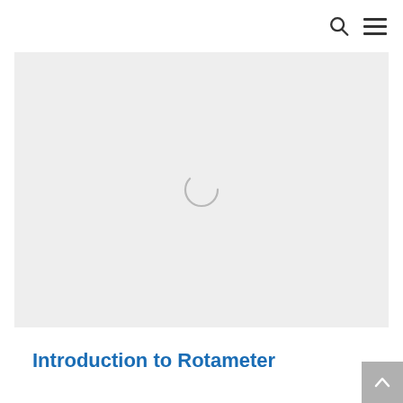[Figure (photo): Large light grey placeholder image area with a loading spinner circle in the center, indicating an image is loading.]
Introduction to Rotameter